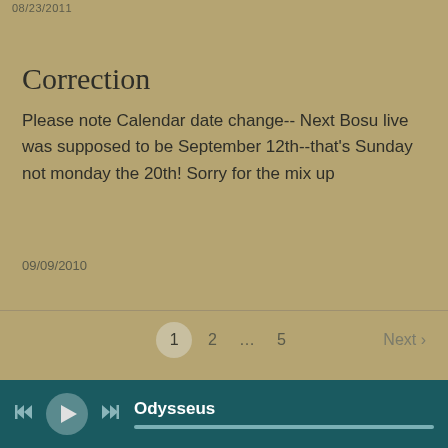08/23/2011
Correction
Please note Calendar date change-- Next Bosu live was supposed to be September 12th--that's Sunday not monday the 20th! Sorry for the mix up
09/09/2010
1  2  …  5  Next ›
Upcoming Lives
Odysseus